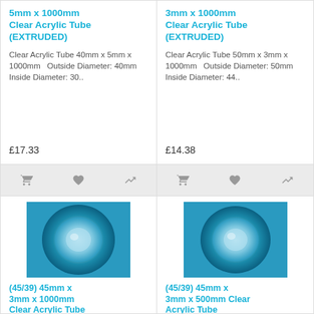5mm x 1000mm Clear Acrylic Tube (EXTRUDED)
Clear Acrylic Tube 40mm x 5mm x 1000mm   Outside Diameter: 40mm Inside Diameter: 30..
£17.33
3mm x 1000mm Clear Acrylic Tube (EXTRUDED)
Clear Acrylic Tube 50mm x 3mm x 1000mm   Outside Diameter: 50mm Inside Diameter: 44..
£14.38
[Figure (photo): Clear acrylic tube end-on photo showing circular cross-section on blue background]
(45/39) 45mm x 3mm x 1000mm Clear Acrylic Tube (EXTRUDED)
[Figure (photo): Clear acrylic tube end-on photo showing circular cross-section on blue background]
(45/39) 45mm x 3mm x 500mm Clear Acrylic Tube (EXTRUDED)